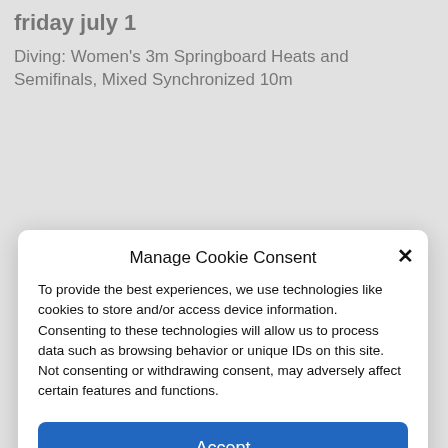friday july 1
Diving: Women’s 3m Springboard Heats and Semifinals, Mixed Synchronized 10m
Manage Cookie Consent
To provide the best experiences, we use technologies like cookies to store and/or access device information. Consenting to these technologies will allow us to process data such as browsing behavior or unique IDs on this site. Not consenting or withdrawing consent, may adversely affect certain features and functions.
Accept
Deny
View preferences